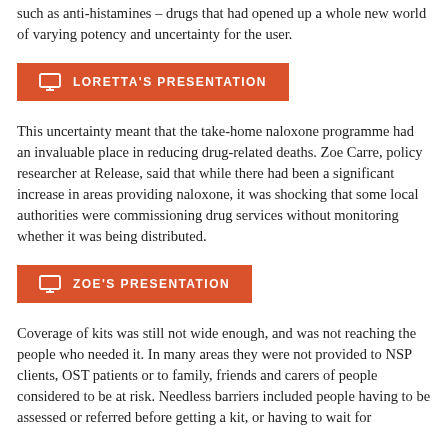such as anti-histamines – drugs that had opened up a whole new world of varying potency and uncertainty for the user.
[Figure (other): Orange button with monitor icon labeled LORETTA'S PRESENTATION]
This uncertainty meant that the take-home naloxone programme had an invaluable place in reducing drug-related deaths. Zoe Carre, policy researcher at Release, said that while there had been a significant increase in areas providing naloxone, it was shocking that some local authorities were commissioning drug services without monitoring whether it was being distributed.
[Figure (other): Orange button with monitor icon labeled ZOE'S PRESENTATION]
Coverage of kits was still not wide enough, and was not reaching the people who needed it. In many areas they were not provided to NSP clients, OST patients or to family, friends and carers of people considered to be at risk. Needless barriers included people having to be assessed or referred before getting a kit, or having to wait for